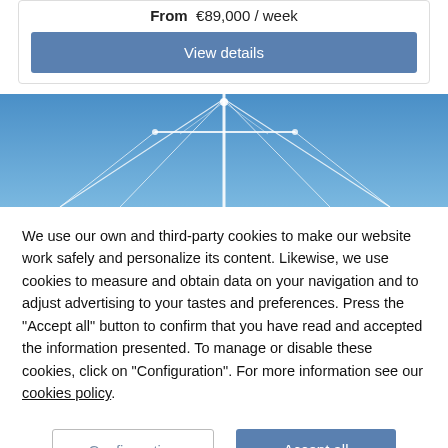From €89,000 / week
View details
[Figure (photo): Yacht mast rigging against a clear blue sky, shot from below looking up]
We use our own and third-party cookies to make our website work safely and personalize its content. Likewise, we use cookies to measure and obtain data on your navigation and to adjust advertising to your tastes and preferences. Press the "Accept all" button to confirm that you have read and accepted the information presented. To manage or disable these cookies, click on "Configuration". For more information see our cookies policy.
Configuration
Accept all